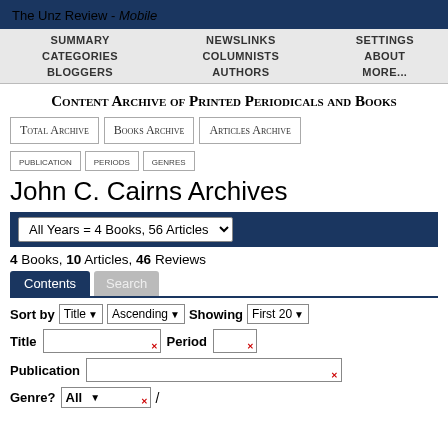The Unz Review - Mobile
SUMMARY | NEWSLINKS | SETTINGS | CATEGORIES | COLUMNISTS | ABOUT | BLOGGERS | AUTHORS | MORE...
Content Archive of Printed Periodicals and Books
Total Archive
Books Archive
Articles Archive
publication
periods
genres
John C. Cairns Archives
All Years = 4 Books, 56 Articles
4 Books, 10 Articles, 46 Reviews
Contents | Search
Sort by Title Ascending Showing First 20
Title | Period
Publication
Genre? All /